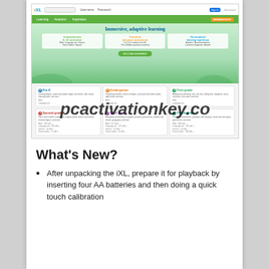[Figure (screenshot): Screenshot of IXL Learning website showing navigation bar, green hero banner with 'Immersive, adaptive learning' headline and three feature cards (Comprehensive K-12 curriculum, Trusted by educators and parents, Personalized learning experience), and a grades grid showing Pre-K through Fourth grade cards with subject links. A watermark 'pcactivationkey.co' overlays the grades section.]
What's New?
After unpacking the iXL, prepare it for playback by inserting four AA batteries and then doing a quick touch calibration